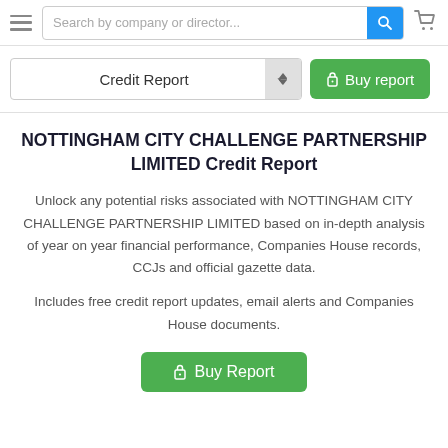Search by company or director...
Credit Report
NOTTINGHAM CITY CHALLENGE PARTNERSHIP LIMITED Credit Report
Unlock any potential risks associated with NOTTINGHAM CITY CHALLENGE PARTNERSHIP LIMITED based on in-depth analysis of year on year financial performance, Companies House records, CCJs and official gazette data.
Includes free credit report updates, email alerts and Companies House documents.
Buy Report